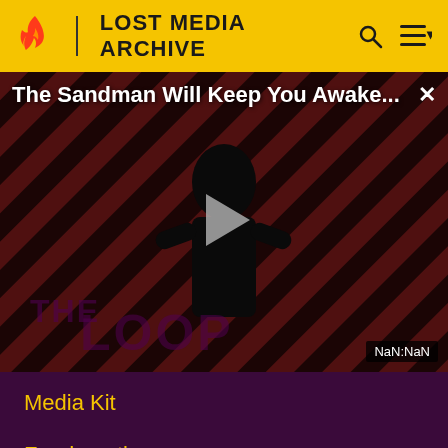LOST MEDIA ARCHIVE
[Figure (screenshot): Video thumbnail showing a dark-themed promotional image for 'The Sandman Will Keep You Awake...' on The Loop channel. A figure dressed in black stands against a diagonal red and black striped background. A grey play button triangle appears at center. Timer shows NaN:NaN.]
Media Kit
Fandomatic
Contact